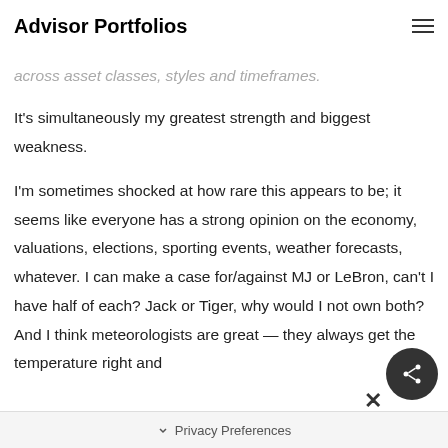Advisor Portfolios
across asset classes, styles and timeframes. It's simultaneously my greatest strength and biggest weakness.
I'm sometimes shocked at how rare this appears to be; it seems like everyone has a strong opinion on the economy, valuations, elections, sporting events, weather forecasts, whatever. I can make a case for/against MJ or LeBron, can't I have half of each? Jack or Tiger, why would I not own both? And I think meteorologists are great — they always get the temperature right and
Privacy Preferences